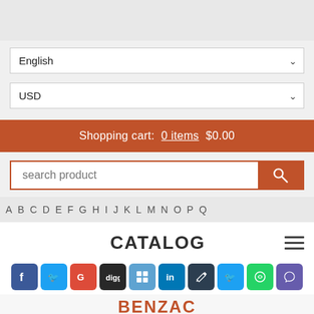[Figure (screenshot): Top gray header area of a website]
English (dropdown selector)
USD (dropdown selector)
Shopping cart: 0 items $0.00
search product
A B C D E F G H I J K L M N O P
CATALOG
[Figure (infographic): Social share icons: Facebook, Twitter, Google+, Digg, Delicious, LinkedIn, a pen/pencil icon, Twitter, WhatsApp, Viber]
BENZAC